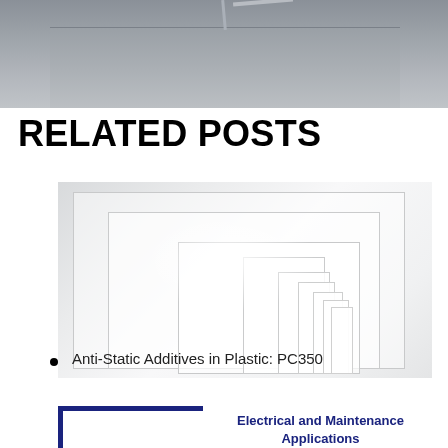[Figure (photo): Top portion of a photo showing a gray surface with what appears to be a plastic or glass material resting on it, viewed from above.]
RELATED POSTS
[Figure (photo): Photo of multiple white plastic sheets of varying sizes arranged in a stepped/layered pattern against a light background.]
Anti-Static Additives in Plastic: PC350
[Figure (photo): Partial image of a card with a dark blue L-shaped border in the top-left corner, and bold dark blue text reading 'Electrical and Maintenance Applications'.]